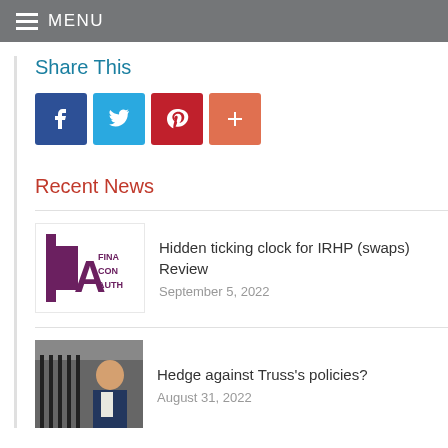MENU
Share This
[Figure (infographic): Social share icons: Facebook, Twitter, Pinterest, and a plus/more button]
Recent News
[Figure (logo): FCA Financial Conduct Authority logo thumbnail]
Hidden ticking clock for IRHP (swaps) Review
September 5, 2022
[Figure (photo): Photo of Liz Truss outside what appears to be a government building]
Hedge against Truss's policies?
August 31, 2022